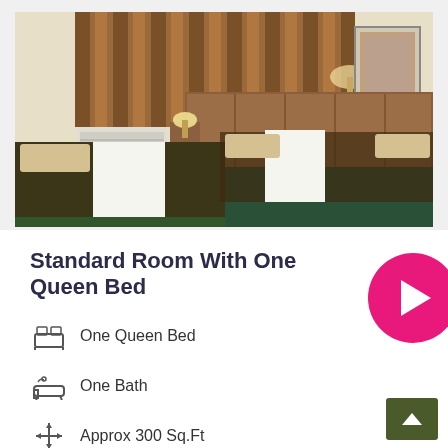[Figure (photo): Hotel room with two queen beds, floral dark patterned bedspreads, wooden headboard, teal/dark green carpet, brown curtains, wall-mounted lamp, framed artwork on wall, white PTAC air conditioner unit]
Standard Room With One Queen Bed
One Queen Bed
One Bath
Approx 300 Sq.Ft
2 Guest